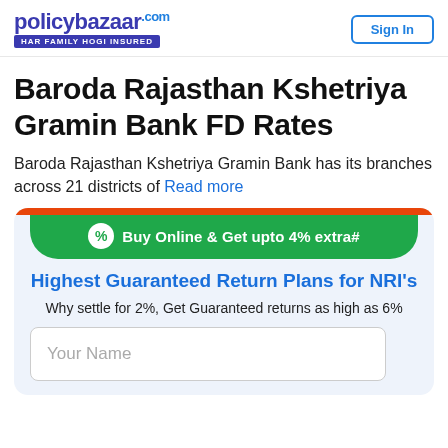policybazaar.com HAR FAMILY HOGI INSURED | Sign In
Baroda Rajasthan Kshetriya Gramin Bank FD Rates
Baroda Rajasthan Kshetriya Gramin Bank has its branches across 21 districts of Read more
[Figure (infographic): Advertisement card with orange top bar, green banner reading 'Buy Online & Get upto 4% extra#', blue headline 'Highest Guaranteed Return Plans for NRI's', subtext 'Why settle for 2%, Get Guaranteed returns as high as 6%', and a 'Your Name' input field.]